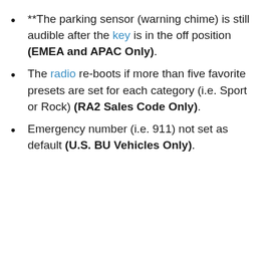**The parking sensor (warning chime) is still audible after the key is in the off position (EMEA and APAC Only).
The radio re-boots if more than five favorite presets are set for each category (i.e. Sport or Rock) (RA2 Sales Code Only).
Emergency number (i.e. 911) not set as default (U.S. BU Vehicles Only).